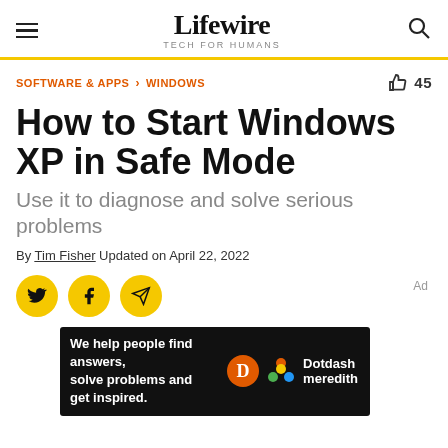Lifewire TECH FOR HUMANS
SOFTWARE & APPS > WINDOWS
How to Start Windows XP in Safe Mode
Use it to diagnose and solve serious problems
By Tim Fisher Updated on April 22, 2022
[Figure (other): Social share icons: Twitter, Facebook, and email/send buttons (yellow circles)]
[Figure (other): Dotdash Meredith advertisement banner: 'We help people find answers, solve problems and get inspired.']